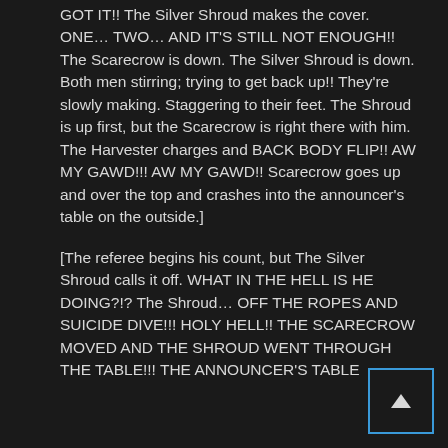GOT IT!! The Silver Shroud makes the cover. ONE… TWO… AND IT'S STILL NOT ENOUGH!! The Scarecrow is down. The Silver Shroud is down. Both men stirring; trying to get back up!! They're slowly making. Staggering to their feet. The Shroud is up first, but the Scarecrow is right there with him. The Harvester charges and BACK BODY FLIP!! AW MY GAWD!!! AW MY GAWD!! Scarecrow goes up and over the top and crashes into the announcer's table on the outside.]
[The referee begins his count, but The Silver Shroud calls it off. WHAT IN THE HELL IS HE DOING?!? The Shroud… OFF THE ROPES AND SUICIDE DIVE!!! HOLY HELL!! THE SCARECROW MOVED AND THE SHROUD WENT THROUGH THE TABLE!!! THE ANNOUNCER'S TABLE